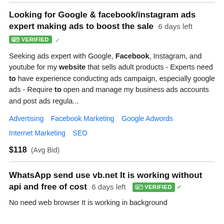Looking for Google & facebook/instagram ads expert making ads to boost the sale  6 days left  VERIFIED
Seeking ads expert with Google, Facebook, Instagram, and youtube for my website that sells adult products - Experts need to have experience conducting ads campaign, especially google ads - Require to open and manage my business ads accounts and post ads regula...
Advertising   Facebook Marketing   Google Adwords   Internet Marketing   SEO
$118  (Avg Bid)
WhatsApp send use vb.net It is working without api and free of cost  6 days left  VERIFIED
No need web browser It is working in background